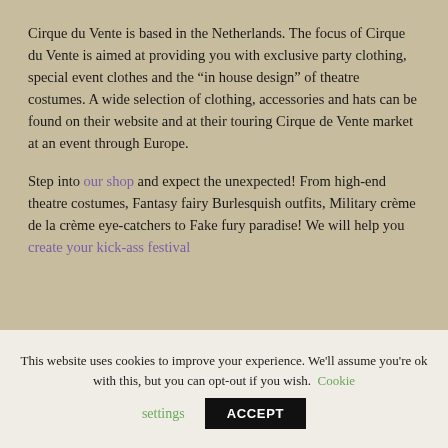Cirque du Vente is based in the Netherlands. The focus of Cirque du Vente is aimed at providing you with exclusive party clothing, special event clothes and the “in house design” of theatre costumes. A wide selection of clothing, accessories and hats can be found on their website and at their touring Cirque de Vente market at an event through Europe.
Step into our shop and expect the unexpected! From high-end theatre costumes, Fantasy fairy Burlesquish outfits, Military crème de la crème eye-catchers to Fake fury paradise! We will help you create your kick-ass festival
This website uses cookies to improve your experience. We'll assume you're ok with this, but you can opt-out if you wish. Cookie settings ACCEPT